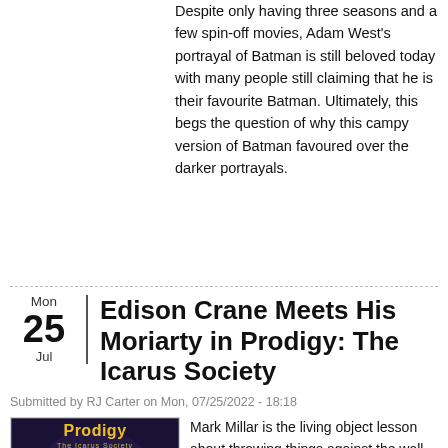Despite only having three seasons and a few spin-off movies, Adam West's portrayal of Batman is still beloved today with many people still claiming that he is their favourite Batman. Ultimately, this begs the question of why this campy version of Batman favoured over the darker portrayals.
Edison Crane Meets His Moriarty in Prodigy: The Icarus Society
Submitted by RJ Carter on Mon, 07/25/2022 - 18:18
[Figure (illustration): Comic book cover of Prodigy: The Icarus Society by Mark Millar, showing a blue-skinned figure in a suit holding a device, with another character below with glowing eyes, against a dark swirling background. Yellow and green text reads 'Prodigy' and 'The Icarus Society'.]
Mark Millar is the living object lesson about throwing things against the wall and seeing what ultimately sticks. The differentiating factor here is that Millar seems to have an inexhaustible supply of ammunition and a target wall with uncanny